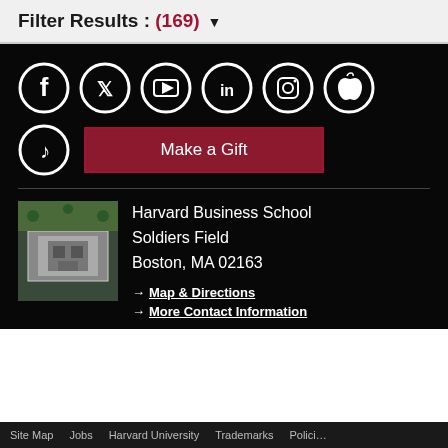Filter Results : (169) ▼
[Figure (infographic): Social media icons row: Facebook, Twitter, YouTube, LinkedIn, Instagram, Apple; second row: TikTok and Make a Gift button]
Harvard Business School
Soldiers Field
Boston, MA 02163
→ Map & Directions
→ More Contact Information
Site Map   Jobs   Harvard University   Trademarks   Policies